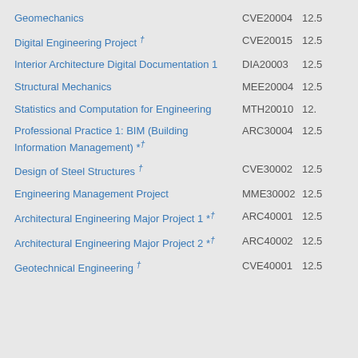Geomechanics CVE20004 12.5
Digital Engineering Project † CVE20015 12.5
Interior Architecture Digital Documentation 1 DIA20003 12.5
Structural Mechanics MEE20004 12.5
Statistics and Computation for Engineering MTH20010 12.
Professional Practice 1: BIM (Building Information Management) *† ARC30004 12.5
Design of Steel Structures † CVE30002 12.5
Engineering Management Project MME30002 12.5
Architectural Engineering Major Project 1 *† ARC40001 12.5
Architectural Engineering Major Project 2 *† ARC40002 12.5
Geotechnical Engineering † CVE40001 12.5